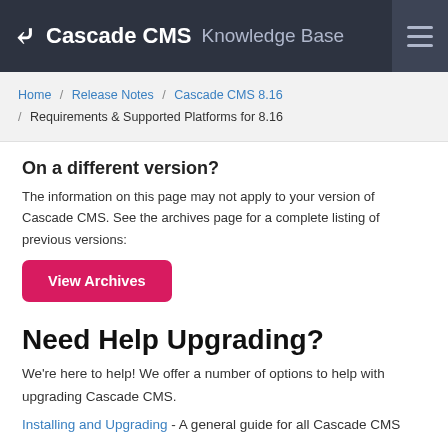Cascade CMS Knowledge Base
Home / Release Notes / Cascade CMS 8.16 / Requirements & Supported Platforms for 8.16
On a different version?
The information on this page may not apply to your version of Cascade CMS. See the archives page for a complete listing of previous versions:
View Archives
Need Help Upgrading?
We're here to help! We offer a number of options to help with upgrading Cascade CMS.
Installing and Upgrading - A general guide for all Cascade CMS